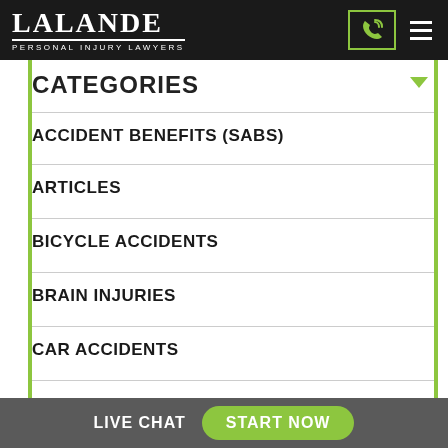[Figure (logo): Lalande Personal Injury Lawyers logo — white text on black background, with phone icon button and hamburger menu]
CATEGORIES
ACCIDENT BENEFITS (SABS)
ARTICLES
BICYCLE ACCIDENTS
BRAIN INJURIES
CAR ACCIDENTS
LIVE CHAT   START NOW